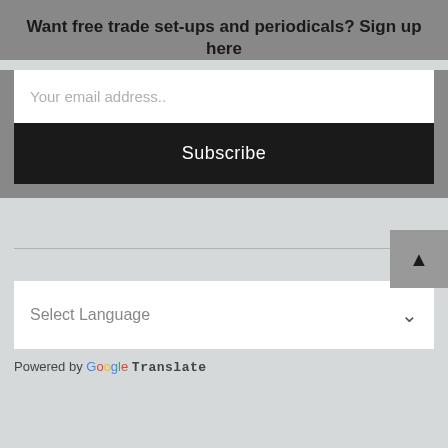Want free trade set-ups and periodicals? Sign up here
Your email address..
Subscribe
[Figure (other): Scroll-up arrow button in grey square]
Select Language
Powered by Google Translate